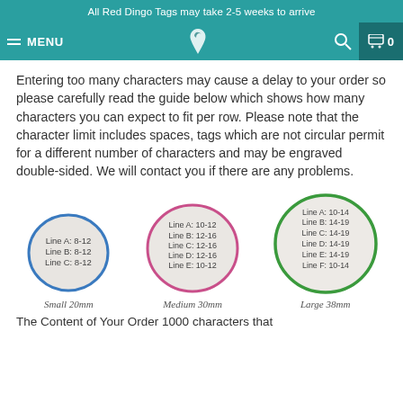All Red Dingo Tags may take 2-5 weeks to arrive
Entering too many characters may cause a delay to your order so please carefully read the guide below which shows how many characters you can expect to fit per row. Please note that the character limit includes spaces, tags which are not circular permit for a different number of characters and may be engraved double-sided. We will contact you if there are any problems.
[Figure (illustration): Three circular tag diagrams showing character limits per line for Small 20mm (Line A: 8-12, Line B: 8-12, Line C: 8-12), Medium 30mm (Line A: 10-12, Line B: 12-16, Line C: 12-16, Line D: 12-16, Line E: 10-12), and Large 38mm (Line A: 10-14, Line B: 14-19, Line C: 14-19, Line D: 14-19, Line E: 14-19, Line F: 10-14)]
Small 20mm   Medium 30mm   Large 38mm
The Content of Your Order 1000 characters that